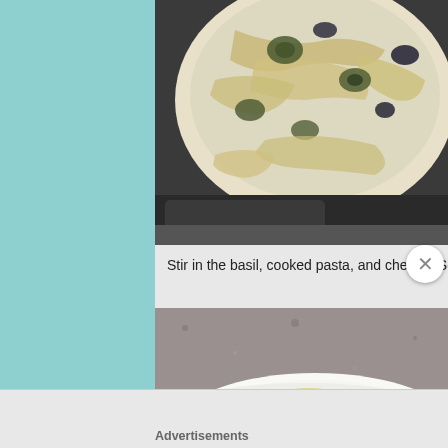[Figure (photo): Top-down view of a skillet/pan containing cooked pasta with vegetables (zucchini slices, dark olives) in a creamy white sauce]
Stir in the basil, cooked pasta, and cheese. Serve
[Figure (photo): A white bowl containing cooked pasta with vegetables in a light cream sauce, on a granite countertop]
Advertisements